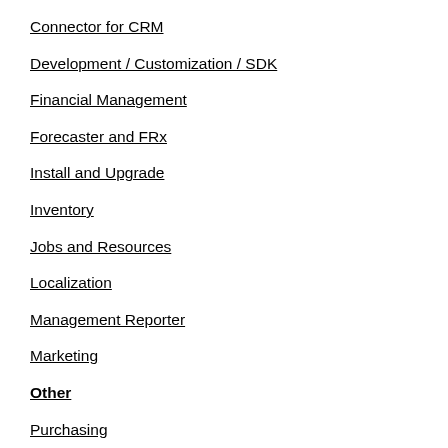Connector for CRM
Development / Customization / SDK
Financial Management
Forecaster and FRx
Install and Upgrade
Inventory
Jobs and Resources
Localization
Management Reporter
Marketing
Other
Purchasing
Sales